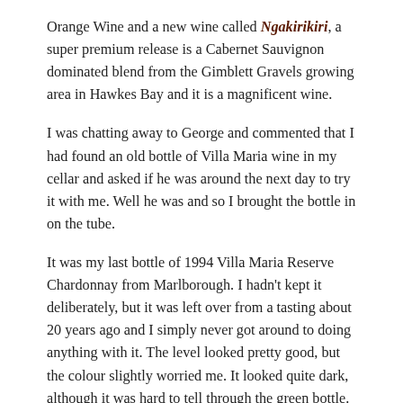Orange Wine and a new wine called Ngakirikiri, a super premium release is a Cabernet Sauvignon dominated blend from the Gimblett Gravels growing area in Hawkes Bay and it is a magnificent wine.
I was chatting away to George and commented that I had found an old bottle of Villa Maria wine in my cellar and asked if he was around the next day to try it with me. Well he was and so I brought the bottle in on the tube.
It was my last bottle of 1994 Villa Maria Reserve Chardonnay from Marlborough. I hadn't kept it deliberately, but it was left over from a tasting about 20 years ago and I simply never got around to doing anything with it. The level looked pretty good, but the colour slightly worried me. It looked quite dark, although it was hard to tell through the green bottle.
Opening an old bottle of wine is always nerve wracking. How old is too old? I was certainly nervous about this one. Would it